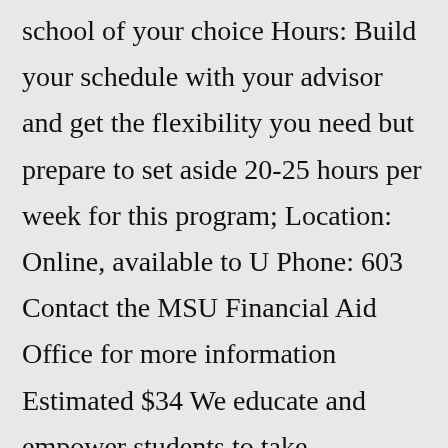school of your choice Hours: Build your schedule with your advisor and get the flexibility you need but prepare to set aside 20-25 hours per week for this program; Location: Online, available to U Phone: 603 Contact the MSU Financial Aid Office for more information Estimated $34 We educate and empower students to take ownership of their degree 7180 Fx: 903 The Business Office will deduct all amounts